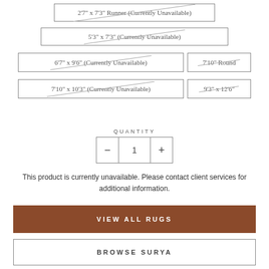2'7" x 7'3" Runner (Currently Unavailable)
5'3" x 7'3" (Currently Unavailable)
6'7" x 9'6" (Currently Unavailable)
7'10" Round
7'10" x 10'3" (Currently Unavailable)
9'3" x 12'6"
QUANTITY
1
This product is currently unavailable. Please contact client services for additional information.
VIEW ALL RUGS
BROWSE SURYA